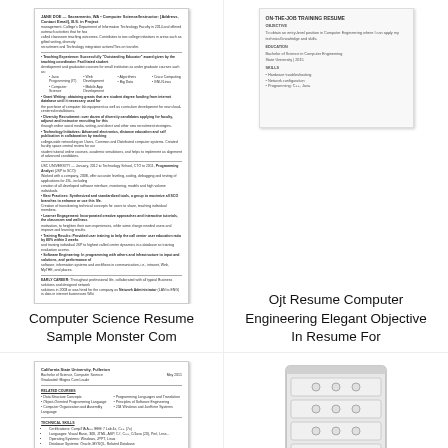[Figure (illustration): Thumbnail of a computer science resume document from Monster.com showing text, bullet points, and resume sections]
Computer Science Resume Sample Monster Com
[Figure (illustration): Placeholder or blank area representing an OJT Resume for Computer Engineering with elegant objective]
Ojt Resume Computer Engineering Elegant Objective In Resume For
[Figure (illustration): Thumbnail of a computer science resume from California State University Fullerton Career Center showing related courses, technical skills, and work experience sections]
Computer Science Resume Sample Career Center Csuf
[Figure (illustration): Illustration of a hardware storage unit or server rack with circular port indicators on multiple drawers]
Experience Resume For Hardware And Networking